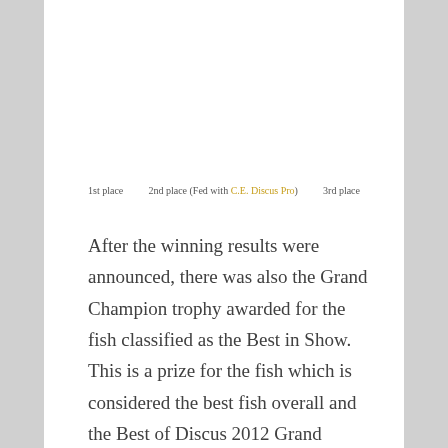1st place    2nd place (Fed with C.E. Discus Pro)    3rd place
After the winning results were announced, there was also the Grand Champion trophy awarded for the fish classified as the Best in Show. This is a prize for the fish which is considered the best fish overall and the Best of Discus 2012 Grand Champion belonged to Babis Tsokas with his 1st place fish in the red category (Below).